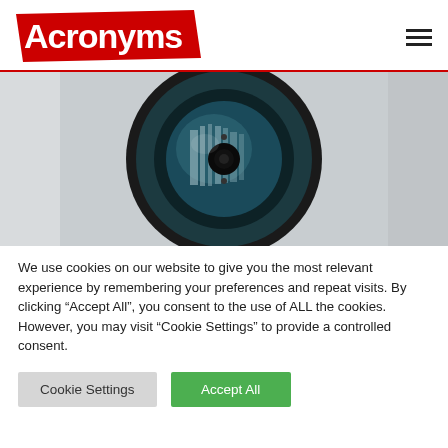Acronyms
[Figure (photo): Close-up photo of a security camera dome lens mounted on a wall, with reflections visible in the dark bluish lens.]
We use cookies on our website to give you the most relevant experience by remembering your preferences and repeat visits. By clicking “Accept All”, you consent to the use of ALL the cookies. However, you may visit "Cookie Settings" to provide a controlled consent.
Cookie Settings   Accept All